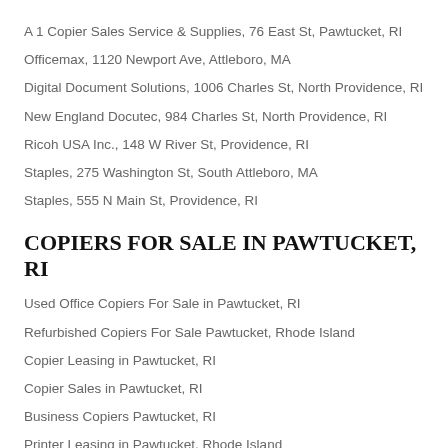A 1 Copier Sales Service & Supplies, 76 East St, Pawtucket, RI
Officemax, 1120 Newport Ave, Attleboro, MA
Digital Document Solutions, 1006 Charles St, North Providence, RI
New England Docutec, 984 Charles St, North Providence, RI
Ricoh USA Inc., 148 W River St, Providence, RI
Staples, 275 Washington St, South Attleboro, MA
Staples, 555 N Main St, Providence, RI
COPIERS FOR SALE IN PAWTUCKET, RI
Used Office Copiers For Sale in Pawtucket, RI
Refurbished Copiers For Sale Pawtucket, Rhode Island
Copier Leasing in Pawtucket, RI
Copier Sales in Pawtucket, RI
Business Copiers Pawtucket, RI
Printer Leasing in Pawtucket, Rhode Island
Copier Dealers in Pawtucket, RI
Used Business Copiers Pawtucket, RI